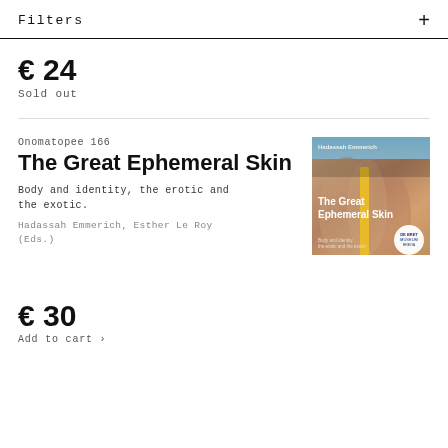Filters  +
€ 24
Sold out
Onomatopee 166
The Great Ephemeral Skin
Body and identity, the erotic and the exotic.
Hadassah Emmerich, Esther Le Roy (Eds.)
[Figure (photo): Book cover of 'The Great Ephemeral Skin' by Hadassah Emmerich, showing close-up of human skin in warm tones with a yellow stripe, with white title text overlay and a circular publisher badge.]
€ 30
Add to cart ›